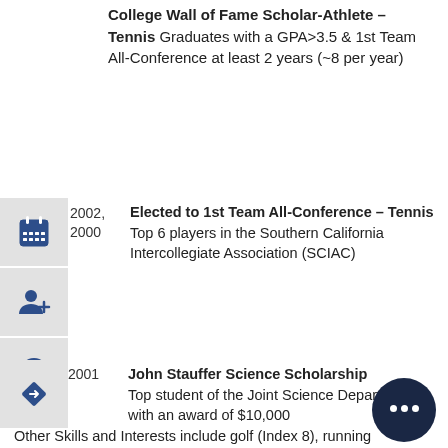College Wall of Fame Scholar-Athlete – Tennis Graduates with a GPA>3.5 & 1st Team All-Conference at least 2 years (~8 per year)
2002, 2000 | Elected to 1st Team All-Conference – Tennis. Top 6 players in the Southern California Intercollegiate Association (SCIAC)
2001 | John Stauffer Science Scholarship. Top student of the Joint Science Department with an award of $10,000
Other Skills and Interests include golf (Index 8), running (Miami Marathon 1/07, LA